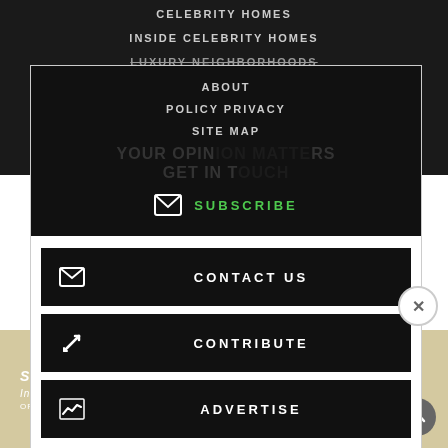CELEBRITY HOMES
INSIDE CELEBRITY HOMES
LUXURY NEIGHBORHOODS
ABOUT
POLICY PRIVACY
SITE MAP
YOUR OPINION MATTERS
GET IN TOUCH
SUBSCRIBE
CONTACT US
CONTRIBUTE
ADVERTISE
[Figure (screenshot): Advertisement banner with beige background showing 'SUMMER SALE' text, 'In-stock Magical Furniture' subtitle, 'OFFER YOUR KIDS THEIR DREAM ROOM' tagline, a product image, and 'SHOP NOW' button]